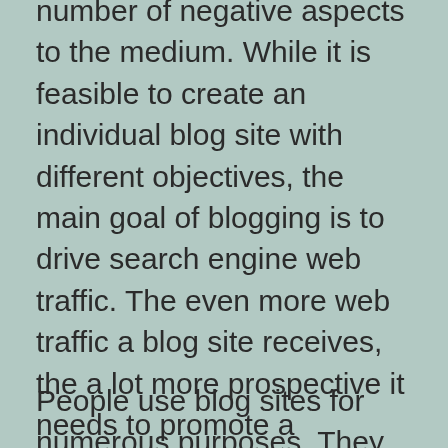number of negative aspects to the medium. While it is feasible to create an individual blog site with different objectives, the main goal of blogging is to drive search engine web traffic. The even more web traffic a blog site receives, the a lot more prospective it needs to promote a company. This is why it is important to optimize your blog site for online search engine results. You can use the best search engine optimization devices to increase your blog's presence and web traffic.
People use blog sites for numerous purposes. They can communicate with other individuals